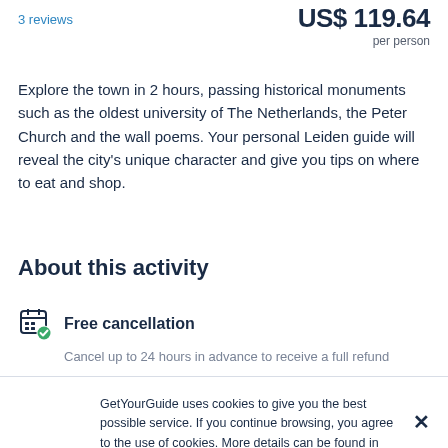3 reviews
US$ 119.64
per person
Explore the town in 2 hours, passing historical monuments such as the oldest university of The Netherlands, the Peter Church and the wall poems. Your personal Leiden guide will reveal the city's unique character and give you tips on where to eat and shop.
About this activity
Free cancellation
Cancel up to 24 hours in advance to receive a full refund
GetYourGuide uses cookies to give you the best possible service. If you continue browsing, you agree to the use of cookies. More details can be found in our privacy policy.